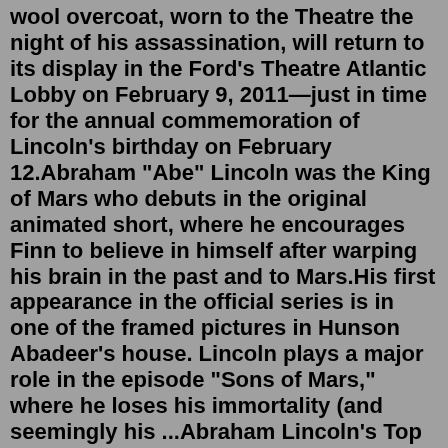wool overcoat, worn to the Theatre the night of his assassination, will return to its display in the Ford's Theatre Atlantic Lobby on February 9, 2011—just in time for the annual commemoration of Lincoln's birthday on February 12.Abraham "Abe" Lincoln was the King of Mars who debuts in the original animated short, where he encourages Finn to believe in himself after warping his brain in the past and to Mars.His first appearance in the official series is in one of the framed pictures in Hunson Abadeer's house. Lincoln plays a major role in the episode "Sons of Mars," where he loses his immortality (and seemingly his ...Abraham Lincoln's Top Hat Description At six feet four inches tall, Lincoln towered over most of his contemporaries. He chose to stand out even more by wearing high top hats. He acquired this hat from J. Y. Davis, a Washington hat maker. Lincoln had the black silk mourning band added in remembrance of his son Willie.1. Find a black fancy overcoat. Lincoln may have had a lot of folk sense in him, but he never turned down an